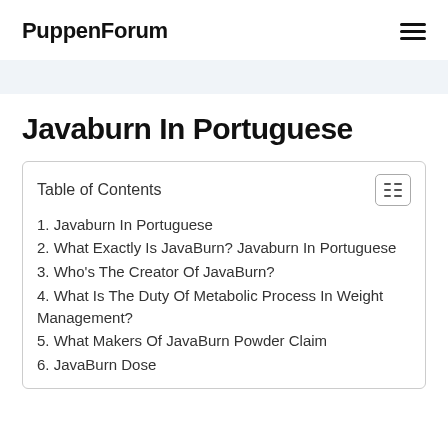PuppenForum
Javaburn In Portuguese
1. Javaburn In Portuguese
2. What Exactly Is JavaBurn? Javaburn In Portuguese
3. Who's The Creator Of JavaBurn?
4. What Is The Duty Of Metabolic Process In Weight Management?
5. What Makers Of JavaBurn Powder Claim
6. JavaBurn Dose